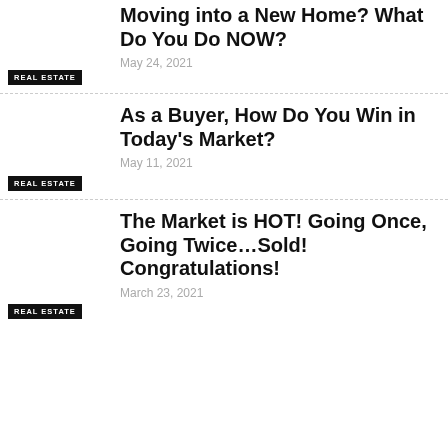Moving into a New Home? What Do You Do NOW?
May 24, 2021
REAL ESTATE
As a Buyer, How Do You Win in Today's Market?
May 11, 2021
REAL ESTATE
The Market is HOT! Going Once, Going Twice…Sold! Congratulations!
March 23, 2021
REAL ESTATE